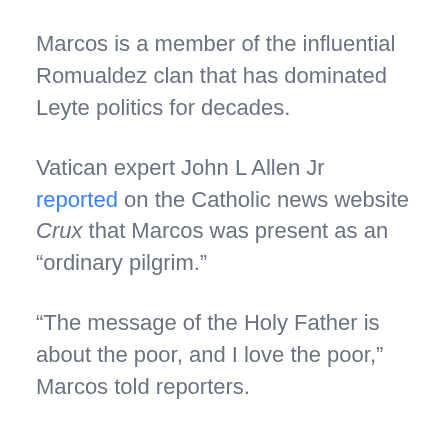Marcos is a member of the influential Romualdez clan that has dominated Leyte politics for decades.
Vatican expert John L Allen Jr reported on the Catholic news website Crux that Marcos was present as an “ordinary pilgrim.”
“The message of the Holy Father is about the poor, and I love the poor,” Marcos told reporters.